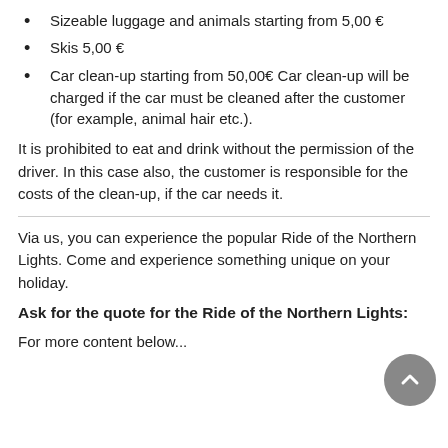Sizeable luggage and animals starting from 5,00 €
Skis 5,00 €
Car clean-up starting from 50,00€ Car clean-up will be charged if the car must be cleaned after the customer (for example, animal hair etc.).
It is prohibited to eat and drink without the permission of the driver. In this case also, the customer is responsible for the costs of the clean-up, if the car needs it.
Via us, you can experience the popular Ride of the Northern Lights. Come and experience something unique on your holiday.
Ask for the quote for the Ride of the Northern Lights:
For more content below...